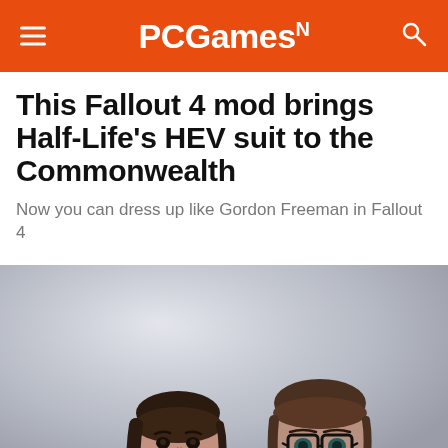PCGamesN
This Fallout 4 mod brings Half-Life's HEV suit to the Commonwealth
Now you can dress up like Gordon Freeman in Fallout 4
[Figure (photo): Half-Life 2 promotional art showing Alyx Vance on the left and Gordon Freeman on the right wearing his HEV suit and glasses, set against a misty grey background]